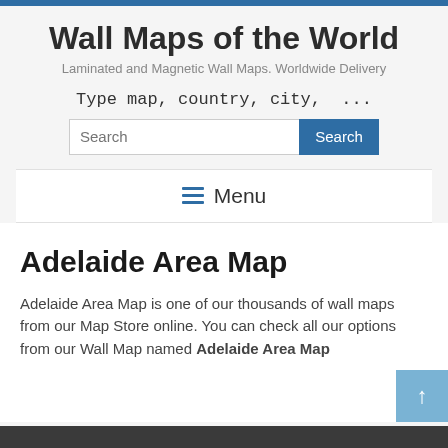Wall Maps of the World
Laminated and Magnetic Wall Maps. Worldwide Delivery
Type map, country, city, ...
Menu
Adelaide Area Map
Adelaide Area Map is one of our thousands of wall maps from our Map Store online. You can check all our options from our Wall Map named Adelaide Area Map